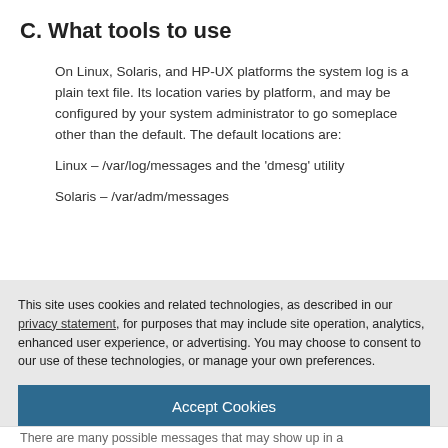C. What tools to use
On Linux, Solaris, and HP-UX platforms the system log is a plain text file. Its location varies by platform, and may be configured by your system administrator to go someplace other than the default. The default locations are:
Linux – /var/log/messages and the 'dmesg' utility
Solaris – /var/adm/messages
This site uses cookies and related technologies, as described in our privacy statement, for purposes that may include site operation, analytics, enhanced user experience, or advertising. You may choose to consent to our use of these technologies, or manage your own preferences.
Accept Cookies
More Information
Privacy Policy | Powered by: TrustArc
There are many possible messages that may show up in a